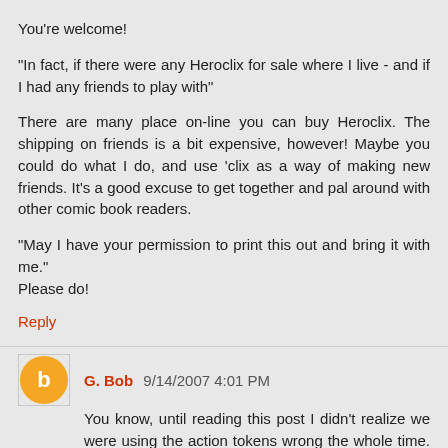You're welcome!
"In fact, if there were any Heroclix for sale where I live - and if I had any friends to play with"
There are many place on-line you can buy Heroclix. The shipping on friends is a bit expensive, however! Maybe you could do what I do, and use 'clix as a way of making new friends. It's a good excuse to get together and pal around with other comic book readers.
"May I have your permission to print this out and bring it with me."
Please do!
Reply
G. Bob 9/14/2007 4:01 PM
You know, until reading this post I didn't realize we were using the action tokens wrong the whole time. So even a character with willpower can't move if he or she has two